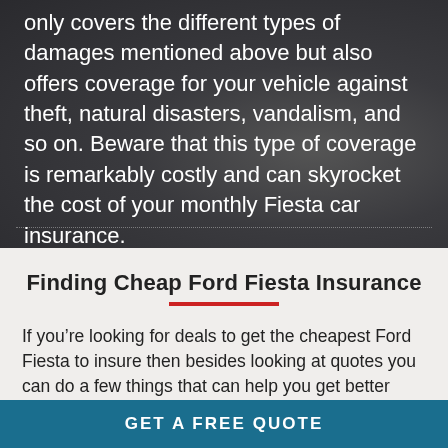only covers the different types of damages mentioned above but also offers coverage for your vehicle against theft, natural disasters, vandalism, and so on. Beware that this type of coverage is remarkably costly and can skyrocket the cost of your monthly Fiesta car insurance.
Finding Cheap Ford Fiesta Insurance
If you're looking for deals to get the cheapest Ford Fiesta to insure then besides looking at quotes you can do a few things that can help you get better rates.
GET A FREE QUOTE